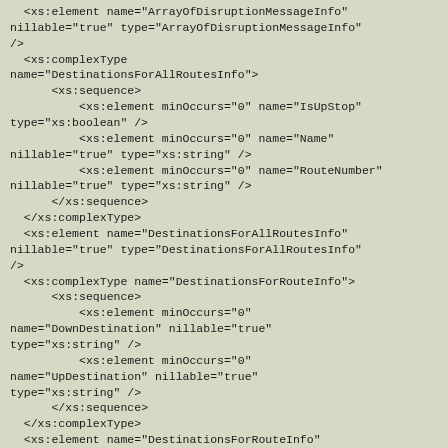<xs:element name="ArrayOfDisruptionMessageInfo" nillable="true" type="ArrayOfDisruptionMessageInfo" />
    <xs:complexType name="DestinationsForAllRoutesInfo">
        <xs:sequence>
            <xs:element minOccurs="0" name="IsUpStop" type="xs:boolean" />
            <xs:element minOccurs="0" name="Name" nillable="true" type="xs:string" />
            <xs:element minOccurs="0" name="RouteNumber" nillable="true" type="xs:string" />
        </xs:sequence>
    </xs:complexType>
    <xs:element name="DestinationsForAllRoutesInfo" nillable="true" type="DestinationsForAllRoutesInfo" />
    <xs:complexType name="DestinationsForRouteInfo">
        <xs:sequence>
            <xs:element minOccurs="0" name="DownDestination" nillable="true" type="xs:string" />
            <xs:element minOccurs="0" name="UpDestination" nillable="true" type="xs:string" />
        </xs:sequence>
    </xs:complexType>
    <xs:element name="DestinationsForRouteInfo" nillable="true" type="DestinationsForRouteInfo" />
    <xs:complexType name="ListOfStopsByPOIIdInfo">
        <xs:sequence>